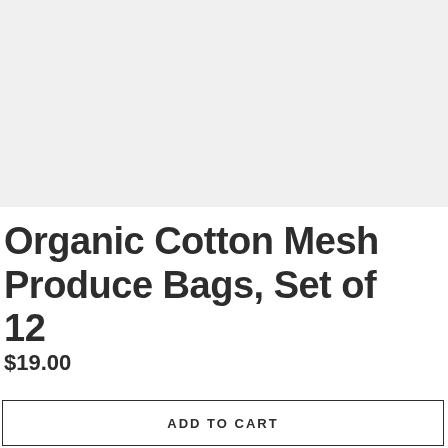[Figure (photo): Light gray placeholder image area for product photo]
Organic Cotton Mesh Produce Bags, Set of 12
$19.00
ADD TO CART